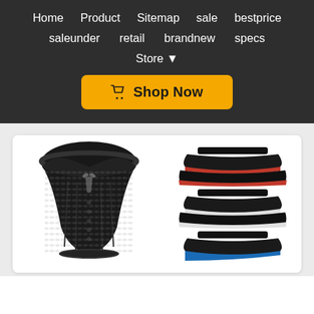Home  Product  Sitemap  sale  bestprice  saleunder  retail  brandnew  specs  Store ▾
Shop Now
[Figure (photo): Product image showing a black corset on the left and three layered tutu skirts (black with red trim, black with white trim, black with blue trim) on the right, displayed on a white card background.]